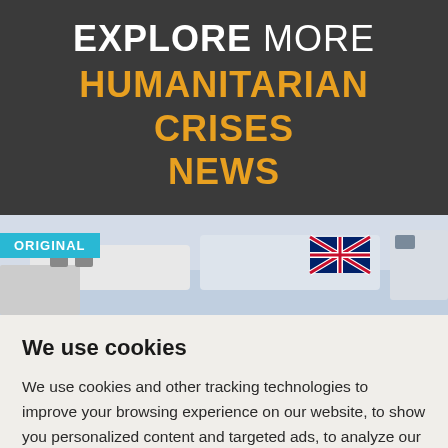EXPLORE MORE HUMANITARIAN CRISES NEWS
[Figure (photo): Photo of boats with Union Jack flags, with an 'ORIGINAL' badge overlay]
We use cookies
We use cookies and other tracking technologies to improve your browsing experience on our website, to show you personalized content and targeted ads, to analyze our website traffic, and to understand where our visitors are coming from.